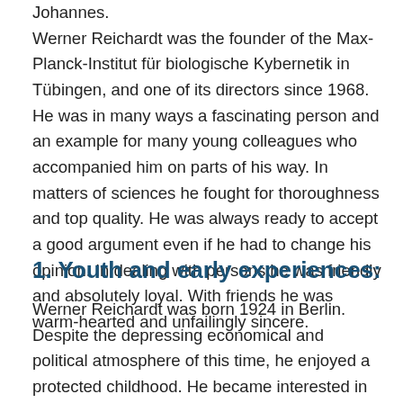Johannes. Werner Reichardt was the founder of the Max-Planck-Institut für biologische Kybernetik in Tübingen, and one of its directors since 1968. He was in many ways a fascinating person and an example for many young colleagues who accompanied him on parts of his way. In matters of sciences he fought for thoroughness and top quality. He was always ready to accept a good argument even if he had to change his opinion. In dealing with persons he was friendly and absolutely loyal. With friends he was warm-hearted and unfailingly sincere.
1. Youth and early experiences:
Werner Reichardt was born 1924 in Berlin. Despite the depressing economical and political atmosphere of this time, he enjoyed a protected childhood. He became interested in physics already during school time,